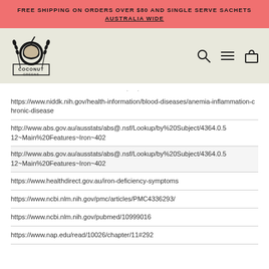FREE SHIPPING ON ORDERS OVER $80 AND SINGLE SERVE SACHETS AUSTRALIA WIDE
[Figure (logo): Coconut Greens logo with coconut and wheat graphic, with search, hamburger menu, and shopping bag icons on the right]
· ·
https://www.niddk.nih.gov/health-information/blood-diseases/anemia-inflammation-chronic-disease
http://www.abs.gov.au/ausstats/abs@.nsf/Lookup/by%20Subject/4364.0.5 12~Main%20Features~Iron~402
http://www.abs.gov.au/ausstats/abs@.nsf/Lookup/by%20Subject/4364.0.5 12~Main%20Features~Iron~402
https://www.healthdirect.gov.au/iron-deficiency-symptoms
https://www.ncbi.nlm.nih.gov/pmc/articles/PMC4336293/
https://www.ncbi.nlm.nih.gov/pubmed/10999016
https://www.nap.edu/read/10026/chapter/11#292